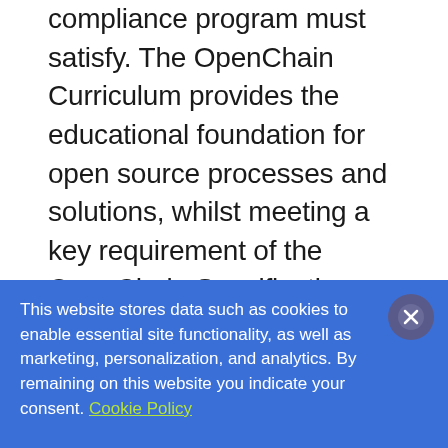compliance program must satisfy. The OpenChain Curriculum provides the educational foundation for open source processes and solutions, whilst meeting a key requirement of the OpenChain Specification. OpenChain Conformance allows organizations to display their adherence to these requirements. The result is that open source license compliance becomes more predictable, understandable and efficient for participants of the software
This website stores data such as cookies to enable essential site functionality, as well as marketing, personalization, and analytics. By remaining on this website you indicate your consent. Cookie Policy